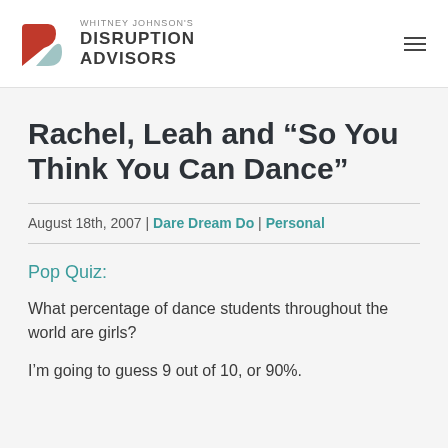WHITNEY JOHNSON'S DISRUPTION ADVISORS
Rachel, Leah and “So You Think You Can Dance”
August 18th, 2007 | Dare Dream Do | Personal
Pop Quiz:
What percentage of dance students throughout the world are girls?
I’m going to guess 9 out of 10, or 90%.